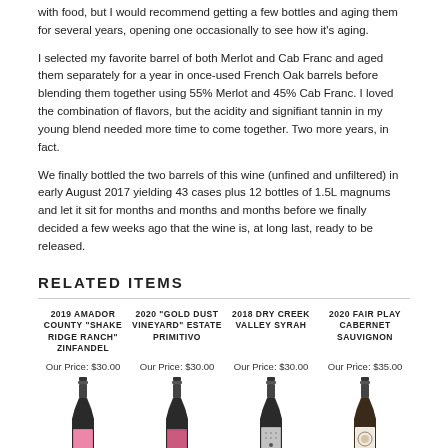with food, but I would recommend getting a few bottles and aging them for several years, opening one occasionally to see how it's aging.
I selected my favorite barrel of both Merlot and Cab Franc and aged them separately for a year in once-used French Oak barrels before blending them together using 55% Merlot and 45% Cab Franc. I loved the combination of flavors, but the acidity and signifiant tannin in my young blend needed more time to come together. Two more years, in fact.
We finally bottled the two barrels of this wine (unfined and unfiltered) in early August 2017 yielding 43 cases plus 12 bottles of 1.5L magnums and let it sit for months and months and months before we finally decided a few weeks ago that the wine is, at long last, ready to be released.
RELATED ITEMS
| Product | Price |
| --- | --- |
| 2019 AMADOR COUNTY "SHAKE RIDGE RANCH" ZINFANDEL | Our Price: $30.00 |
| 2020 "GOLD DUST VINEYARD" ESTATE PRIMITIVO | Our Price: $30.00 |
| 2018 DRY CREEK VALLEY SYRAH | Our Price: $30.00 |
| 2020 FAIR PLAY CABERNET SAUVIGNON | Our Price: $35.00 |